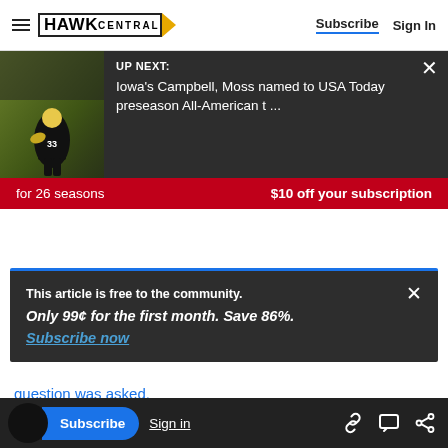HAWK CENTRAL | Subscribe  Sign In
[Figure (screenshot): Up Next panel showing Iowa football player image with dark overlay and text: UP NEXT: Iowa's Campbell, Moss named to USA Today preseason All-American t ...]
[Figure (infographic): Red ad banner: 'for 26 seasons  $10 off your subscription']
This article is free to the community.
Only 99¢ for the first month. Save 86%.
Subscribe now
question was asked.
offer from South Dakota State, but he also held